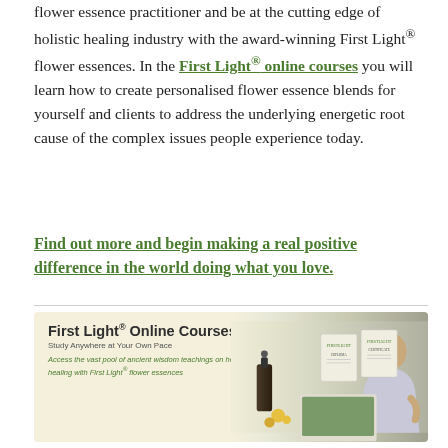flower essence practitioner and be at the cutting edge of holistic healing industry with the award-winning First Light® flower essences. In the First Light® online courses you will learn how to create personalised flower essence blends for yourself and clients to address the underlying energetic root cause of the complex issues people experience today.
Find out more and begin making a real positive difference in the world doing what you love.
[Figure (illustration): Banner advertisement for First Light® Online Courses showing a woman studying at a laptop with flower essence bottles and diplomas/certificates. Text reads: 'First Light® Online Courses', 'Study Anywhere at Your Own Pace', 'Access the vast pool of ancient wisdom teachings on holistic healing with First Light® flower essences']